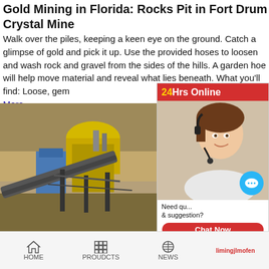Gold Mining in Florida: Rocks Pit in Fort Drum Crystal Mine
Walk over the piles, keeping a keen eye on the ground. Catch a glimpse of gold and pick it up. Use the provided hoses to loosen and wash rock and gravel from the sides of the hills. A garden hoe will help move material and reveal what lies beneath. What you'll find: Loose, gem More
[Figure (photo): Photograph of large industrial mining equipment and conveyor structures at an open-pit mine]
Gold City Gem Mine
GOLD CITY GEM MINE is a retail tourist location op dealing in the sale of precious gems, semi precious silver gem jewelry, gem mining, gold panning, and th minerals (RECENTLY FOUND GEMS: (EMERALD, RUBY, SAPPHIRE,( ALL PRECIOUS GEMS) (AMET
[Figure (photo): Customer service representative with headset - 24Hrs Online sidebar with chat now button, Enquiry section, and limingjlmofen link]
HOME   PROUDCTS   NEWS   limingjlmofen